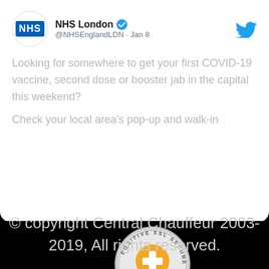[Figure (screenshot): Twitter/X card showing NHS London account (@NHSEnglandLDN, Jan 8) with tweet about COVID-19 vaccine locations]
NHS London @NHSEnglandLDN · Jan 8
Looking for somewhere to get your first COVID-19 vaccine, second dose or booster jab in the capital this weekend?
Check your local area's pop-up and walk-in
[Figure (logo): Positive SSL Secured Website badge - circular seal with orange plus sign]
[Figure (illustration): Three country flags: German flag (black/red/gold), Russian flag (white/blue/red), Chinese flag (red with yellow stars)]
© copyright Central Chauffeur 2003-2019, All rights reserved.